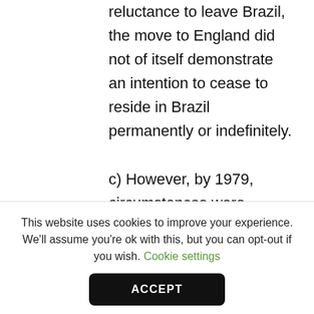reluctance to leave Brazil, the move to England did not of itself demonstrate an intention to cease to reside in Brazil permanently or indefinitely.

c) However, by 1979, circumstances were different. The tribunal took a rounded approach by considering events throughout Ian's life. By 1979, Ian had already ceased to have any
This website uses cookies to improve your experience. We'll assume you're ok with this, but you can opt-out if you wish. Cookie settings
ACCEPT